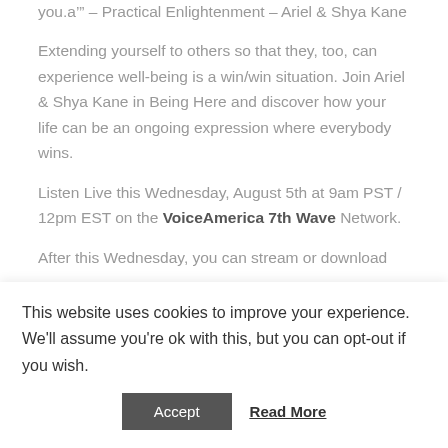you.a’” – Practical Enlightenment – Ariel & Shya Kane
Extending yourself to others so that they, too, can experience well-being is a win/win situation. Join Ariel & Shya Kane in Being Here and discover how your life can be an ongoing expression where everybody wins.
Listen Live this Wednesday, August 5th at 9am PST / 12pm EST on the VoiceAmerica 7th Wave Network.
After this Wednesday, you can stream or download
This website uses cookies to improve your experience. We'll assume you're ok with this, but you can opt-out if you wish.